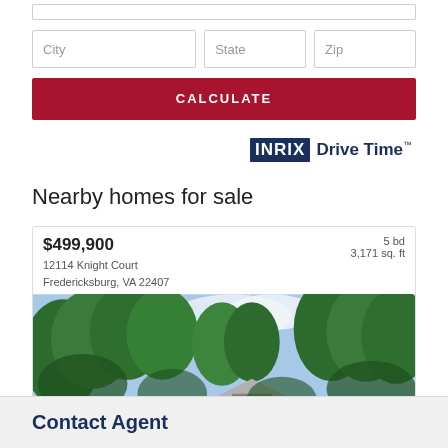[Figure (screenshot): Partial input field stub at top of form]
[Figure (screenshot): City, State, Zip input fields row]
[Figure (screenshot): CALCULATE button in dark red]
[Figure (logo): INRIX Drive Time logo]
Nearby homes for sale
$499,900
12114 Knight Court
Fredericksburg, VA 22407
5 bd
3,171 sq. ft
[Figure (photo): Exterior photo of home with green trees and blue sky]
Contact Agent